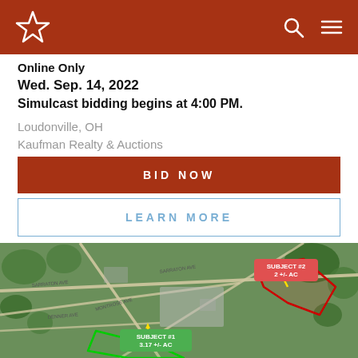Kaufman Realty & Auctions — Navigation header with logo, search, and menu
Online Only
Wed. Sep. 14, 2022
Simulcast bidding begins at 4:00 PM.
Loudonville, OH
Kaufman Realty & Auctions
BID NOW
LEARN MORE
[Figure (map): Aerial/satellite map of Loudonville OH showing two subject properties outlined: SUBJECT #1 (3.17 +/- AC) outlined in green, and SUBJECT #2 (2 +/- AC) outlined in red, with yellow arrows pointing to each.]